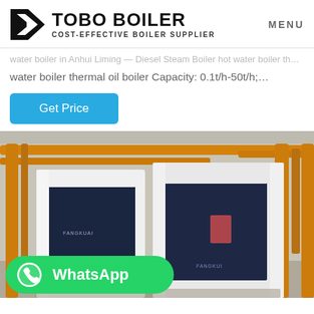TOBO BOILER — COST-EFFECTIVE BOILER SUPPLIER | MENU
water boiler in Anhui Liming — Diesel Steam Boiler hot water boiler thermal oil boiler Capacity: 0.1t/h-50t/h;…
Get Price
[Figure (photo): Industrial boiler room showing large white and dark blue vertical boilers with orange/yellow gas pipes running along the ceiling and floor. WhatsApp call-to-action button overlay in bottom left corner.]